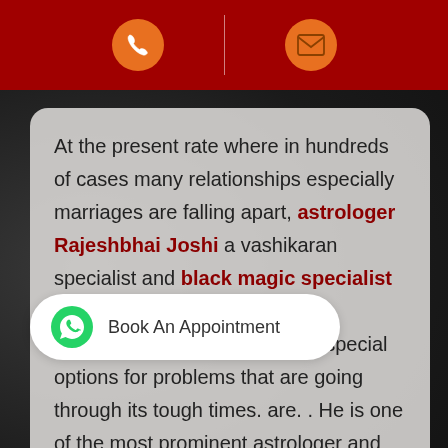[Phone icon] | [Email icon]
At the present rate where in hundreds of cases many relationships especially marriages are falling apart, astrologer Rajeshbhai Joshi a vashikaran specialist and black magic specialist in Bhopal to solve marriage relationship problems will give special options for problems that are going through its tough times. are. . He is one of the most prominent astrologer and dynamic person, despite the fact that he is young and has knowledge which is more than many. He is also known globally for s and ability to read sides with ease and provide effective results for a better and love life
[Figure (other): Book An Appointment button with WhatsApp green icon]